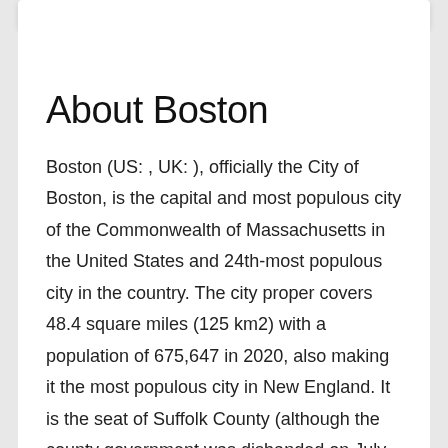About Boston
Boston (US: , UK: ), officially the City of Boston, is the capital and most populous city of the Commonwealth of Massachusetts in the United States and 24th-most populous city in the country. The city proper covers 48.4 square miles (125 km2) with a population of 675,647 in 2020, also making it the most populous city in New England. It is the seat of Suffolk County (although the county government was disbanded on July 1, 1999). The city is the economic and cultural anchor of a substantially larger metropolitan area known as Greater Boston, a metropolitan